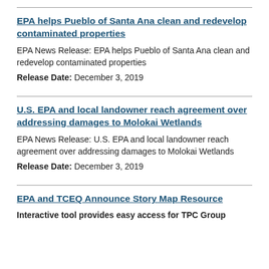EPA helps Pueblo of Santa Ana clean and redevelop contaminated properties
EPA News Release: EPA helps Pueblo of Santa Ana clean and redevelop contaminated properties
Release Date: December 3, 2019
U.S. EPA and local landowner reach agreement over addressing damages to Molokai Wetlands
EPA News Release: U.S. EPA and local landowner reach agreement over addressing damages to Molokai Wetlands
Release Date: December 3, 2019
EPA and TCEQ Announce Story Map Resource
Interactive tool provides easy access for TPC Group